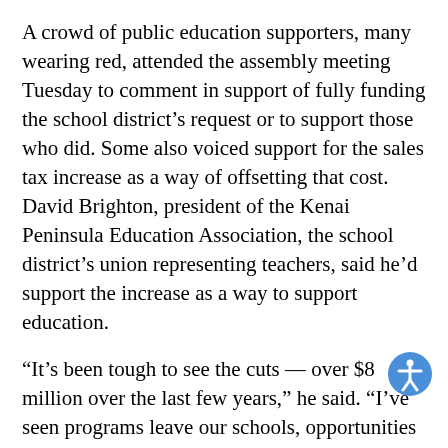A crowd of public education supporters, many wearing red, attended the assembly meeting Tuesday to comment in support of fully funding the school district's request or to support those who did. Some also voiced support for the sales tax increase as a way of offsetting that cost. David Brighton, president of the Kenai Peninsula Education Association, the school district's union representing teachers, said he'd support the increase as a way to support education.
“It’s been tough to see the cuts — over $8 million over the last few years,” he said. “I’ve seen programs leave our schools, opportunities that (my sons) have missed. … I ask you to pass this, and that will be able to help you fully fund education.”
The issue was also addressed by assembly member Kelly...